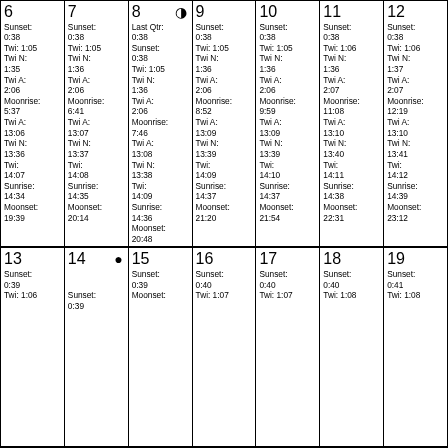| 6 | 7 | 8 | 9 | 10 | 11 | 12 |
| --- | --- | --- | --- | --- | --- | --- |
| Sunset: 0:38
Twi: 1:05
Twi N: 1:35
Twi A: 2:06
Moonrise: 5:37
Twi A: 13:06
Twi N: 13:36
Twi: 14:07
Sunrise: 14:34
Moonset: 19:39 | Sunset: 0:38
Twi: 1:05
Twi N: 1:36
Twi A: 2:06
Moonrise: 6:41
Twi A: 13:07
Twi N: 13:37
Twi: 14:08
Sunrise: 14:35
Moonset: 20:14 | Last Qtr: 0:38
Sunset: 0:38
Twi: 1:05
Twi N: 1:36
Twi A: 2:06
Moonrise: 7:46
Twi A: 13:08
Twi N: 13:38
Twi: 14:09
Sunrise: 14:36
Moonset: 20:48 | Sunset: 0:38
Twi: 1:05
Twi N: 1:36
Twi A: 2:06
Moonrise: 8:52
Twi A: 13:09
Twi N: 13:39
Twi: 14:09
Sunrise: 14:37
Moonset: 21:20 | Sunset: 0:38
Twi: 1:05
Twi N: 1:36
Twi A: 2:06
Moonrise: 9:59
Twi A: 13:09
Twi N: 13:39
Twi: 14:10
Sunrise: 14:37
Moonset: 21:54 | Sunset: 0:38
Twi: 1:06
Twi N: 1:36
Twi A: 2:07
Moonrise: 11:08
Twi A: 13:10
Twi N: 13:40
Twi: 14:11
Sunrise: 14:38
Moonset: 22:31 | Sunset: 0:38
Twi: 1:06
Twi N: 1:37
Twi A: 2:07
Moonrise: 12:19
Twi A: 13:10
Twi N: 13:41
Twi: 14:12
Sunrise: 14:39
Moonset: 23:12 |
| 13 | 14 | 15 | 16 | 17 | 18 | 19 |
| --- | --- | --- | --- | --- | --- | --- |
| Sunset: 0:39
Twi: 1:06 | Sunset: 0:39 | Sunset: 0:39
Moonset: | Sunset: 0:40
Twi: 1:07 | Sunset: 0:40
Twi: 1:07 | Sunset: 0:40
Twi: 1:08 | Sunset: 0:41
Twi: 1:08 |